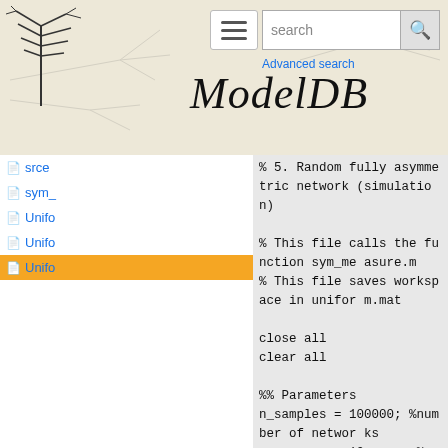ModelDB — Advanced search
srce
sym_
Unifo
Unifo
Unifo (active)
% 5. Random fully asymmetric network (simulation)

% This file calls the function sym_measure.m
% This file saves workspace in uniform.mat

close all
clear all

%% Parameters
n_samples = 100000; %number of networks
n_neurons = 10;      %number of neurons
a = 0:0.1:0.9;       %pruning values
n_points = size(a,2);
n_bins = 200;
max_w = 1;           %maximum weights